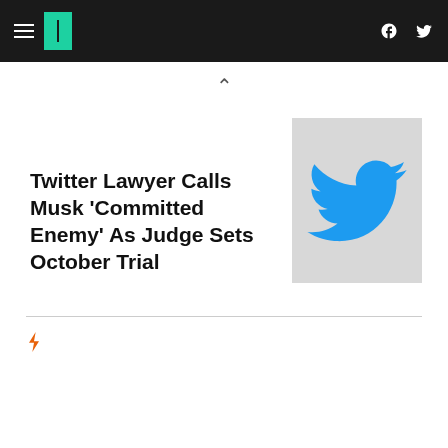HuffPost navigation with hamburger menu, logo, Facebook and Twitter icons
Twitter Lawyer Calls Musk 'Committed Enemy' As Judge Sets October Trial
[Figure (logo): Twitter bird logo on light grey background]
[Figure (other): Orange lightning bolt icon]